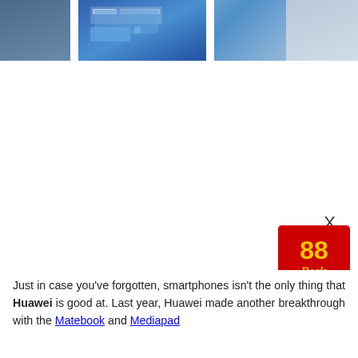[Figure (photo): A smartphone or laptop displaying a Windows 10 screen, showing a blue desktop/lock screen interface, partially framed with white device bezels and grey side panels.]
[Figure (photo): 88 Deals promotional advertisement badge — red speech-bubble shape with yellow '88' and 'Deals' text in cursive, with an X close button above it.]
Back to Top
Just in case you've forgotten, smartphones isn't the only thing that Huawei is good at. Last year, Huawei made another breakthrough with the Matebook and Mediapad